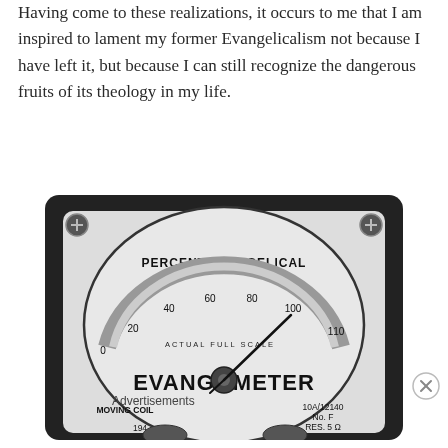Having come to these realizations, it occurs to me that I am inspired to lament my former Evangelicalism not because I have left it, but because I can still recognize the dangerous fruits of its theology in my life.
[Figure (photo): A black and white photograph of an analog meter gauge labeled 'EVANGOMETER' with the scale reading 'PERCENT EVANGELICAL' from 0 to 110, marked 'ACTUAL FULL SCALE'. The needle points near 100. Text on the meter also reads 'MOVING COIL', '10A/12140', 'No. F', 'RES. 5 Ω', and '194'.]
Advertisements